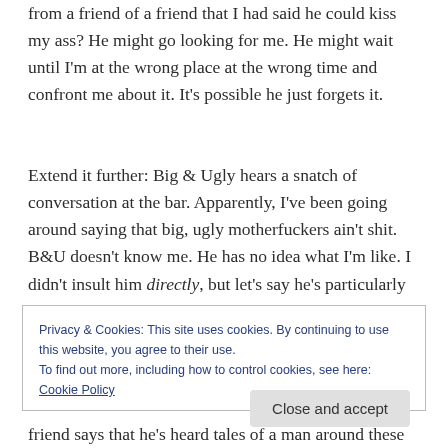from a friend of a friend that I had said he could kiss my ass? He might go looking for me. He might wait until I'm at the wrong place at the wrong time and confront me about it. It's possible he just forgets it.
Extend it further: Big & Ugly hears a snatch of conversation at the bar. Apparently, I've been going around saying that big, ugly motherfuckers ain't shit. B&U doesn't know me. He has no idea what I'm like. I didn't insult him directly, but let's say he's particularly vindictive. He makes a mental note to maybe one day talk to me about that.
Privacy & Cookies: This site uses cookies. By continuing to use this website, you agree to their use.
To find out more, including how to control cookies, see here: Cookie Policy
Close and accept
friend says that he's heard tales of a man around these